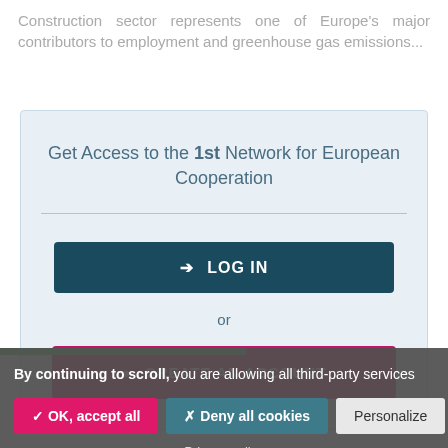Construction sector represents one of Europe's major contributors to employment and greenhouse gas emissions...
Get Access to the 1st Network for European Cooperation
[Figure (screenshot): Login modal with LOG IN button and CREATE AN ACCOUNT button on light blue background]
By continuing to scroll, you are allowing all third-party services
✓ OK, accept all  ✗ Deny all cookies  Personalize
Privacy policy